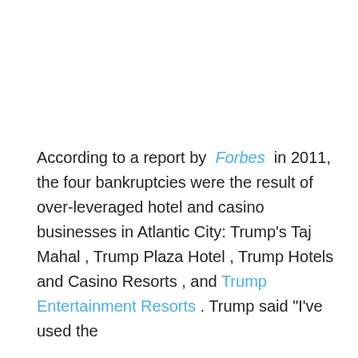According to a report by Forbes in 2011, the four bankruptcies were the result of over-leveraged hotel and casino businesses in Atlantic City: Trump's Taj Mahal , Trump Plaza Hotel , Trump Hotels and Casino Resorts , and Trump Entertainment Resorts . Trump said "I've used the